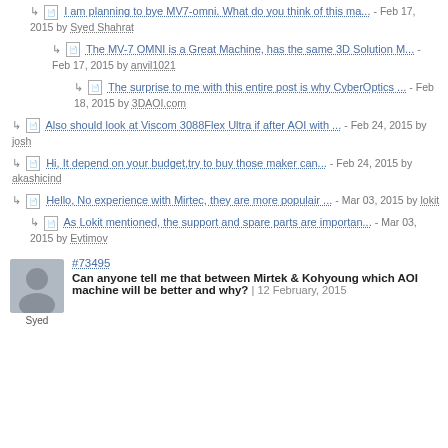I am planning to bye MV7-omni. What do you think of this ma... - Feb 17, 2015 by Syed Shahrat
The MV-7 OMNI is a Great Machine, has the same 3D Solution M... - Feb 17, 2015 by anvil1021
The surprise to me with this entire post is why CyberOptics ... - Feb 18, 2015 by 3DAOI.com
Also should look at Viscom 3088Flex Ultra if after AOI with ... - Feb 24, 2015 by josh
Hi, It depend on your budget,try to buy those maker can... - Feb 24, 2015 by akashicind
Hello, No experience with Mirtec, they are more populair ... - Mar 03, 2015 by lokit
As Lokit mentioned, the support and spare parts are importan... - Mar 03, 2015 by Evtimov
#73495
Can anyone tell me that between Mirtek & Kohyoung which AOI machine will be better and why? | 12 February, 2015
Syed